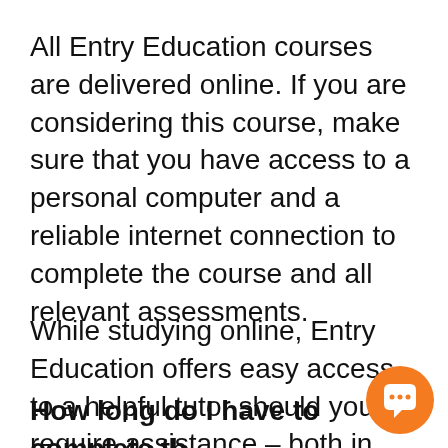All Entry Education courses are delivered online. If you are considering this course, make sure that you have access to a personal computer and a reliable internet connection to complete the course and all relevant assessments.
While studying online, Entry Education offers easy access to a helpful tutor should you require assistance – both in and out of office hours.
How long do I have to complete th…